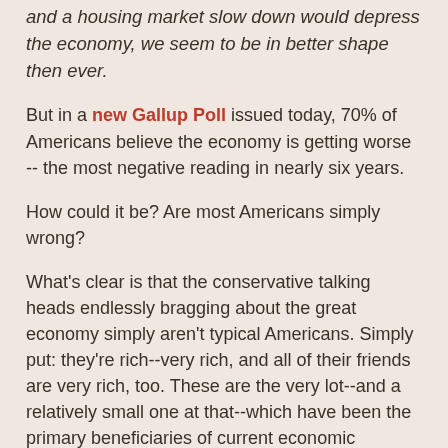and a housing market slow down would depress the economy, we seem to be in better shape then ever.
But in a new Gallup Poll issued today, 70% of Americans believe the economy is getting worse -- the most negative reading in nearly six years.
How could it be? Are most Americans simply wrong?
What's clear is that the conservative talking heads endlessly bragging about the great economy simply aren't typical Americans. Simply put: they're rich--very rich, and all of their friends are very rich, too. These are the very lot--and a relatively small one at that--which have been the primary beneficiaries of current economic policies.
On the other hand, most Americans (70% according to the survey) are deeply concerned about their current and future financial circumstances.
So while large businesses report record profits, average Americans find themselves running out of money this A...